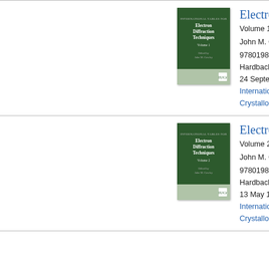[Figure (photo): Book cover of Electron Diffraction Techniques Volume 1, dark green cover]
Electron Diffraction Techniques
Volume 1
John M. C...
9780198...
Hardback
24 September...
International...
Crystallography...
[Figure (photo): Book cover of Electron Diffraction Techniques Volume 2, dark green cover]
Electron Diffraction Techniques
Volume 2
John M. C...
9780198...
Hardback
13 May 1...
International...
Crystallography...